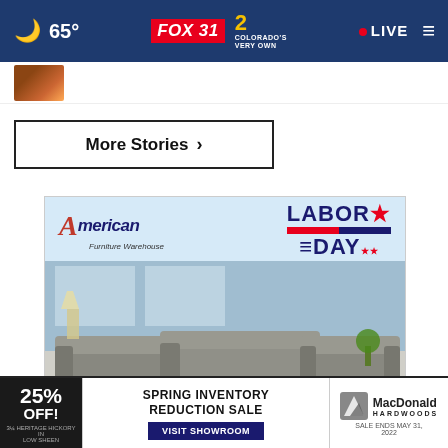65° FOX 31 2 COLORADO'S VERY OWN • LIVE
[Figure (screenshot): Thumbnail image strip showing a small preview image]
More Stories ›
[Figure (illustration): American Furniture Warehouse Labor Day advertisement showing leather sofas with 'LEATHER SOFA $998' banner]
[Figure (illustration): MacDonald Hardwoods ad: 25% OFF Spring Inventory Reduction Sale, 3¼ Heritage Hickory in Low Sheen, Visit Showroom, Sale Ends May 31, 2022]